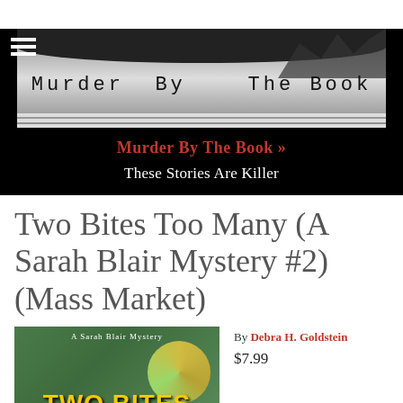[Figure (photo): Black and white photo of a bookstore building with a large awning sign reading 'Murder By The Book' in typewriter-style font. Trees visible in background on the right side.]
Murder By The Book »
These Stories Are Killer
Two Bites Too Many (A Sarah Blair Mystery #2) (Mass Market)
[Figure (photo): Book cover for 'Two Bites Too Many - A Sarah Blair Mystery' with green background, yellow swirl design, and bold yellow title text 'TWO BITES']
By Debra H. Goldstein
$7.99